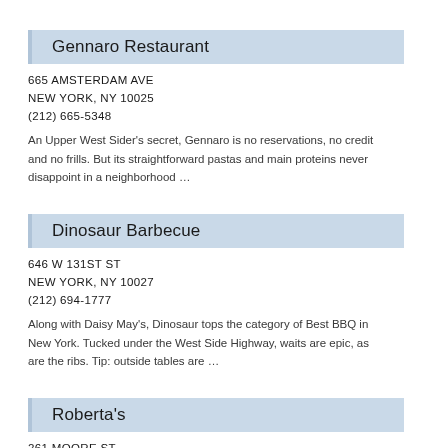Gennaro Restaurant
665 AMSTERDAM AVE
NEW YORK, NY 10025
(212) 665-5348
An Upper West Sider's secret, Gennaro is no reservations, no credit and no frills. But its straightforward pastas and main proteins never disappoint in a neighborhood …
Dinosaur Barbecue
646 W 131ST ST
NEW YORK, NY 10027
(212) 694-1777
Along with Daisy May's, Dinosaur tops the category of Best BBQ in New York. Tucked under the West Side Highway, waits are epic, as are the ribs. Tip: outside tables are …
Roberta's
261 MOORE ST
BROOKLYN, NY 11206
(718) 417-1118
One of the Brooklyn new school of locavore-crazy, market-driven ingredients, Roberta's is